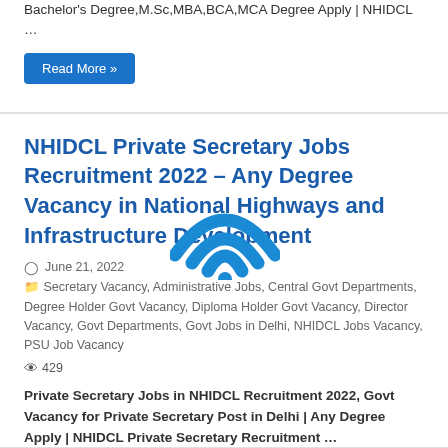Bachelor's Degree,M.Sc,MBA,BCA,MCA Degree Apply | NHIDCL …
Read More »
NHIDCL Private Secretary Jobs Recruitment 2022 – Any Degree Vacancy in National Highways and Infrastructure Development
June 21, 2022
Secretary Vacancy, Administrative Jobs, Central Govt Departments, Degree Holder Govt Vacancy, Diploma Holder Govt Vacancy, Director Vacancy, Govt Departments, Govt Jobs in Delhi, NHIDCL Jobs Vacancy, PSU Job Vacancy
429
Private Secretary Jobs in NHIDCL Recruitment 2022, Govt Vacancy for Private Secretary Post in Delhi | Any Degree Apply | NHIDCL Private Secretary Recruitment …
Read More »